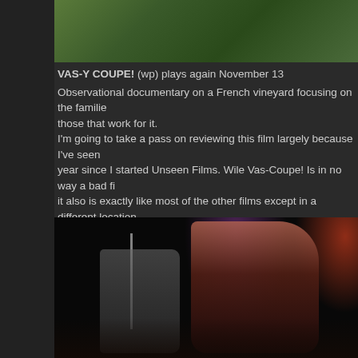[Figure (photo): Partial view of a French vineyard, green foliage visible, cropped at top of page]
VAS-Y COUPE! (wp) plays again November 13
Observational documentary on a French vineyard focusing on the familie those that work for it.
I'm going to take a pass on reviewing this film largely because I've seen year since I started Unseen Films. Wile Vas-Coupe! Is in no way a bad fi it also is exactly like most of the other films except in a different location. You mileage will depend upon how much you love these sort of films
[Figure (photo): Concert photo showing a long-haired vocalist pointing into the crowd while screaming, with a bald guitarist in background, dark stage with red and purple lighting]